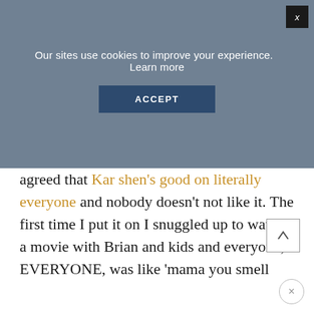Our sites use cookies to improve your experience.   Learn more
ACCEPT
agreed that Kar shen's good on literally everyone and nobody doesn't not like it. The first time I put it on I snuggled up to watch a movie with Brian and kids and everyone, EVERYONE, was like 'mama you smell goooooood'. It's not overpowering, just a nice floral/gardenia scent that I LOVE. I bought the lotion and the rollerball and after 1 year of wearing it, it's still going strong.